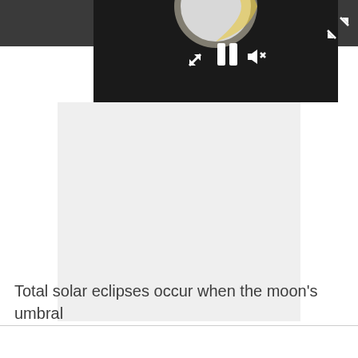[Figure (screenshot): A video player interface showing a partially visible animation of a solar eclipse (moon and sun visible at top). The player has a dark toolbar with pause, resize, and mute controls. Below the video frame is a large light-gray content/loading area.]
Total solar eclipses occur when the moon's umbral